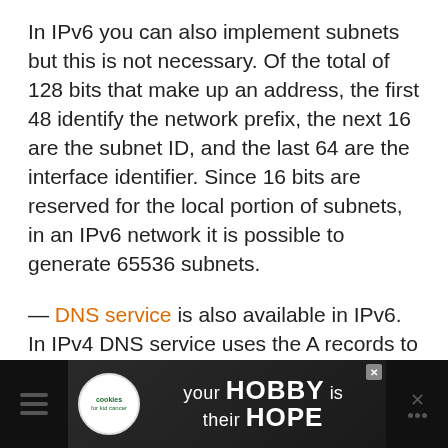In IPv6 you can also implement subnets but this is not necessary. Of the total of 128 bits that make up an address, the first 48 identify the network prefix, the next 16 are the subnet ID, and the last 64 are the interface identifier. Since 16 bits are reserved for the local portion of subnets, in an IPv6 network it is possible to generate 65536 subnets.
— DNS service is also available in IPv6. In IPv4 DNS service uses the A records to map IP addresses to names. In IPv6 AAAA records are used (also called Quad A). The domain ip6.arpa is used for reverse name resolution.
[Figure (photo): Advertisement banner at bottom of page: dark background with 'cookies for kid cancer' logo (white circle with heart), text 'your HOBBY is their HOPE' in white, with a close button]